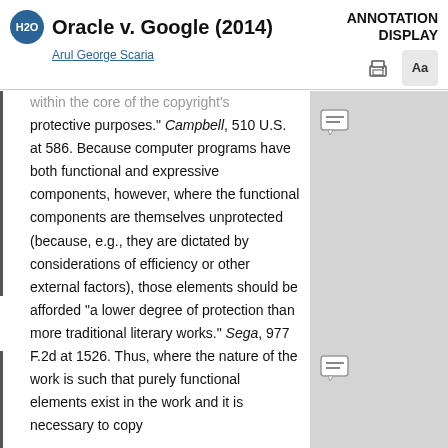Oracle v. Google (2014)
Arul George Scaria
ANNOTATION DISPLAY
within the core of the copyright's protective purposes." Campbell, 510 U.S. at 586. Because computer programs have both functional and expressive components, however, where the functional components are themselves unprotected (because, e.g., they are dictated by considerations of efficiency or other external factors), those elements should be afforded "a lower degree of protection than more traditional literary works." Sega, 977 F.2d at 1526. Thus, where the nature of the work is such that purely functional elements exist in the work and it is necessary to copy